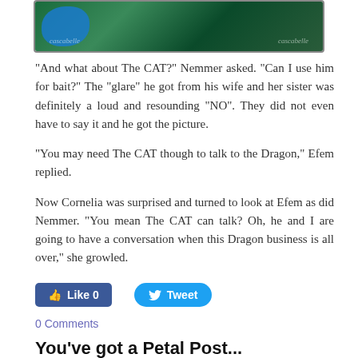[Figure (photo): Top portion of a nature/fantasy themed image showing blue and green elements, likely fairy or butterfly figures against dark green foliage, with watermark text on left and right sides.]
"And what about The CAT?" Nemmer asked.  "Can I use him for bait?"  The "glare" he got from his wife and her sister was definitely a loud and resounding "NO".  They did not even have to say it and he got the picture.
"You may need The CAT though to talk to the Dragon," Efem replied.
Now Cornelia was surprised and turned to look at Efem as did Nemmer.  "You mean The CAT can talk?  Oh, he and I are going to have a conversation when this Dragon business is all over," she growled.
[Figure (screenshot): Social media buttons: Facebook Like (0) and Twitter Tweet buttons]
0 Comments
You've got a Petal Post...